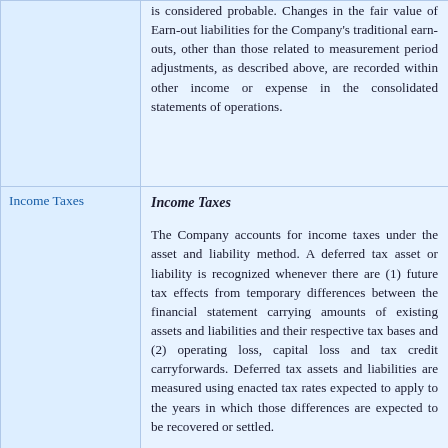is considered probable. Changes in the fair value of Earn-out liabilities for the Company's traditional earn-outs, other than those related to measurement period adjustments, as described above, are recorded within other income or expense in the consolidated statements of operations.
Income Taxes
The Company accounts for income taxes under the asset and liability method. A deferred tax asset or liability is recognized whenever there are (1) future tax effects from temporary differences between the financial statement carrying amounts of existing assets and liabilities and their respective tax bases and (2) operating loss, capital loss and tax credit carryforwards. Deferred tax assets and liabilities are measured using enacted tax rates expected to apply to the years in which those differences are expected to be recovered or settled.
Deferred tax assets are recognized to the extent the Company believes these assets will more likely than not be realized. In evaluating the realizability of deferred tax assets, the Company considers all available positive and negative evidence, including the interaction and the timing of,